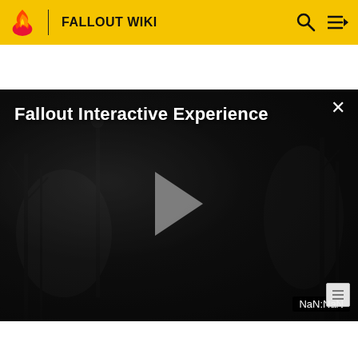FALLOUT WIKI
[Figure (screenshot): Fallout Interactive Experience video player overlay on dark atmospheric background showing post-apocalyptic scene with trees. Play button in center. NaN:NaN timestamp bottom right. Close X button top right.]
| 566 |  |  | Abraham really the M and you to help, w would m lot to me |